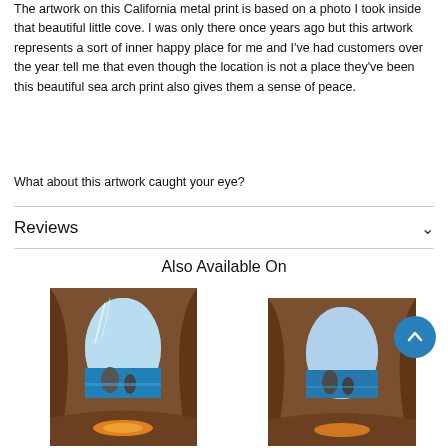The artwork on this California metal print is based on a photo I took inside that beautiful little cove. I was only there once years ago but this artwork represents a sort of inner happy place for me and I've had customers over the year tell me that even though the location is not a place they've been this beautiful sea arch print also gives them a sense of peace.
What about this artwork caught your eye?
Reviews
Also Available On
[Figure (photo): Photo of a sea arch cave with turquoise ocean visible through the arch opening, rocky brown cave walls, and a colorful kayak at the bottom]
[Figure (photo): Second photo of the same sea arch cave scene, slightly different crop, showing the arch opening with blue sky and ocean, rocky brown walls]